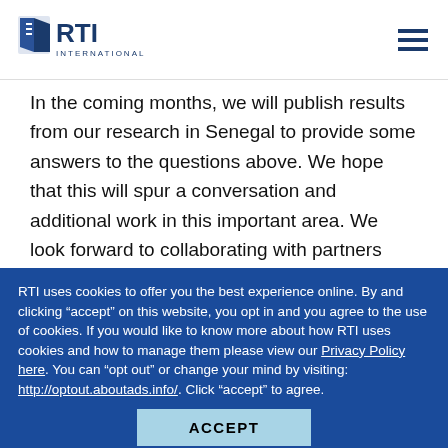RTI International
In the coming months, we will publish results from our research in Senegal to provide some answers to the questions above. We hope that this will spur a conversation and additional work in this important area. We look forward to collaborating with partners and colleagues across the health and energy sectors, putting our collective expertise together to investigate the connections between health service delivery and access to electricity. The more insights we can provide and
RTI uses cookies to offer you the best experience online. By and clicking “accept” on this website, you opt in and you agree to the use of cookies. If you would like to know more about how RTI uses cookies and how to manage them please view our Privacy Policy here. You can “opt out” or change your mind by visiting: http://optout.aboutads.info/. Click “accept” to agree.
ACCEPT